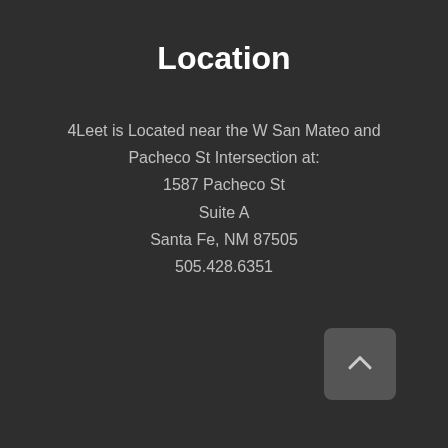Location
4Leet is Located near the W San Mateo and Pacheco St Intersection at:
1587 Pacheco St
Suite A
Santa Fe, NM 87505
505.428.6351
[Figure (other): Back to top button with an upward chevron arrow icon, dark gray rounded square button in the bottom right corner]